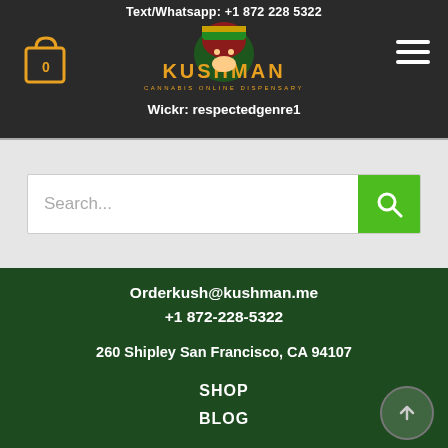Text/Whatsapp: +1 872 228 5322
[Figure (logo): Kushman Cannabis Online Dispensary logo with illustrated character]
Wickr: respectedgenre1
Search...
Orderkush@kushman.me
+1 872-228-5322
260 Shipley San Francisco, CA 94107
SHOP
BLOG